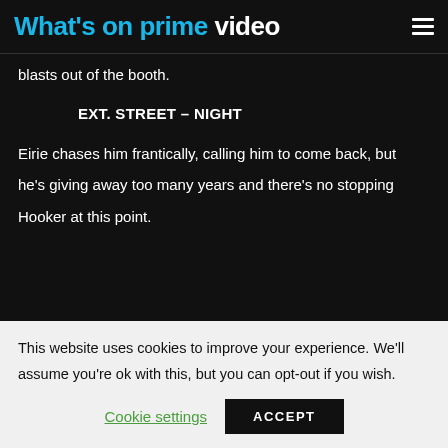What's on prime video
blasts out of the booth.
EXT. STREET – NIGHT
Eirie chases him frantically, calling him to come back, but he's giving away too many years and there's no stopping Hooker at this point.
This website uses cookies to improve your experience. We'll assume you're ok with this, but you can opt-out if you wish.
Cookie settings  ACCEPT